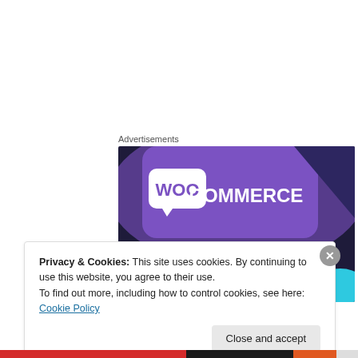Advertisements
[Figure (illustration): WooCommerce advertisement banner with dark purple/navy background. Purple speech-bubble logo with 'WOO' and 'COMMERCE' text in white. Teal/green triangle on left, cyan shape on bottom right. Text reads 'Turn your hobby into' (partially visible).]
Privacy & Cookies: This site uses cookies. By continuing to use this website, you agree to their use.
To find out more, including how to control cookies, see here: Cookie Policy
Close and accept